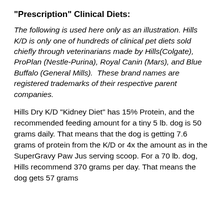"Prescription" Clinical Diets:
The following is used here only as an illustration. Hills K/D is only one of hundreds of clinical pet diets sold chiefly through veterinarians made by Hills(Colgate), ProPlan (Nestle-Purina), Royal Canin (Mars), and Blue Buffalo (General Mills).  These brand names are registered trademarks of their respective parent companies.
Hills Dry K/D "Kidney Diet" has 15% Protein, and the recommended feeding amount for a tiny 5 lb. dog is 50 grams daily. That means that the dog is getting 7.6 grams of protein from the K/D or 4x the amount as in the SuperGravy Paw Jus serving scoop. For a 70 lb. dog, Hills recommend 370 grams per day. That means the dog gets 57 grams